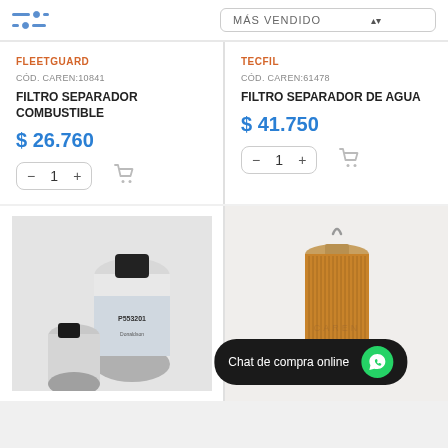MÁS VENDIDO
FLEETGUARD
CÓD. CAREN:10841
FILTRO SEPARADOR COMBUSTIBLE
$ 26.760
TECFIL
CÓD. CAREN:61478
FILTRO SEPARADOR DE AGUA
$ 41.750
[Figure (photo): Donaldson P553201 fuel filter product photo]
[Figure (photo): Cylindrical fuel filter element product photo]
Chat de compra online